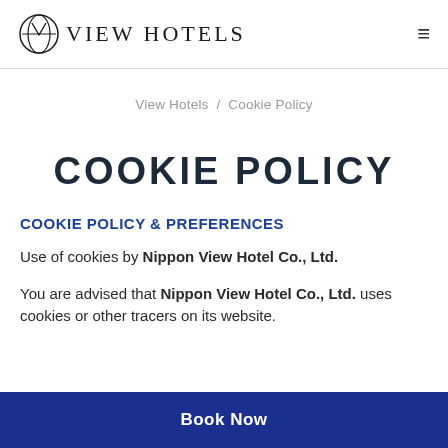VIEW HOTELS
View Hotels / Cookie Policy
COOKIE POLICY
COOKIE POLICY & PREFERENCES
Use of cookies by Nippon View Hotel Co., Ltd.
You are advised that Nippon View Hotel Co., Ltd. uses cookies or other tracers on its website.
Book Now